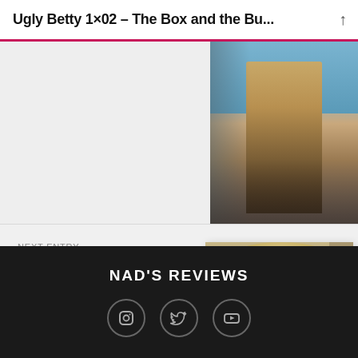Ugly Betty 1×02 – The Box and the Bu...
[Figure (photo): Partial view of previous entry with outdoor photo showing a woman on stairs]
NEXT ENTRY
The Good Fight 2×01 – Day 408
[Figure (photo): Photo of a blonde woman in a black top with pearl necklace, seated in what appears to be a courtroom]
NAD'S REVIEWS